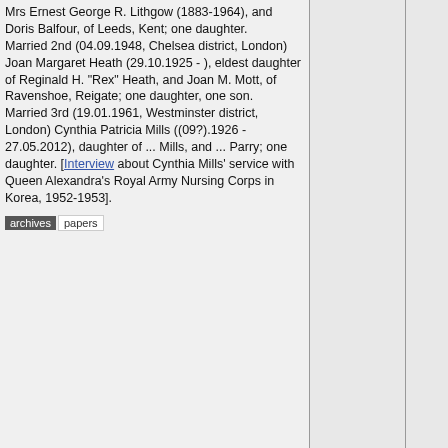Mrs Ernest George R. Lithgow (1883-1964), and Doris Balfour, of Leeds, Kent; one daughter. Married 2nd (04.09.1948, Chelsea district, London) Joan Margaret Heath (29.10.1925 - ), eldest daughter of Reginald H. "Rex" Heath, and Joan M. Mott, of Ravenshoe, Reigate; one daughter, one son. Married 3rd (19.01.1961, Westminster district, London) Cynthia Patricia Mills ((09?).1926 - 27.05.2012), daughter of ... Mills, and ... Parry; one daughter. [Interview about Cynthia Mills' service with Queen Alexandra's Royal Army Nursing Corps in Korea, 1952-1953].
archives papers
31.
(0
17.
(1
(1
29.
01.
16.
25.